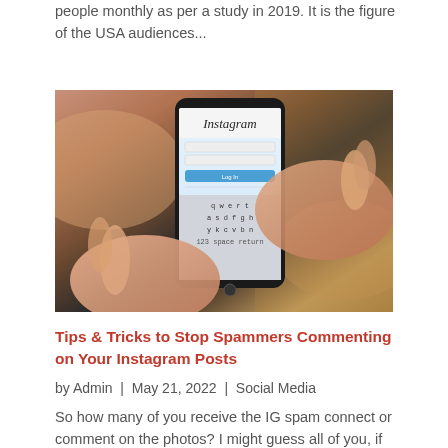people monthly as per a study in 2019. It is the figure of the USA audiences...
[Figure (photo): Person holding a smartphone displaying the Instagram login screen with keyboard visible]
Tips & Tricks to Stop Spammers Commenting on Your Instagram Posts
by Admin | May 21, 2022 | Social Media
So how many of you receive the IG spam connect or comment on the photos? I might guess all of you, if